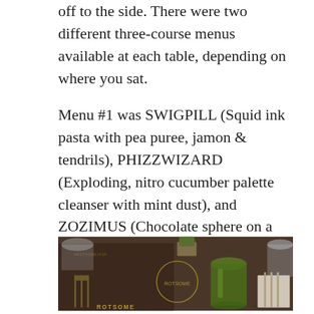off to the side. There were two different three-course menus available at each table, depending on where you sat.
Menu #1 was SWIGPILL (Squid ink pasta with pea puree, jamon & tendrils), PHIZZWIZARD (Exploding, nitro cucumber palette cleanser with mint dust), and ZOZIMUS (Chocolate sphere on a nest of crispy celeriac with surprise yolk of mango, passionfruit, and sago).
[Figure (photo): Restaurant table setting photo showing a dark menu/placemat with a fork graphic and text reading ROTSOME, a green drinking glass, a small potted plant, cutlery wrapped in a napkin, and some glassware in the background.]